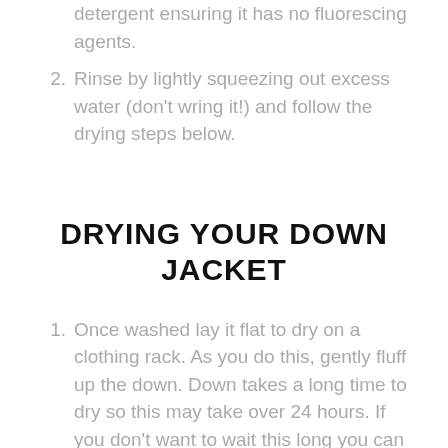detergent ensuring it has no fluorescing agents.
2. Rinse by lightly squeezing out excess water (don't wring it!) and follow the drying steps below.
DRYING YOUR DOWN JACKET
1. Once washed lay it flat to dry on a clothing rack. As you do this, gently fluff up the down. Down takes a long time to dry so this may take over 24 hours. If you don't want to wait this long you can skip